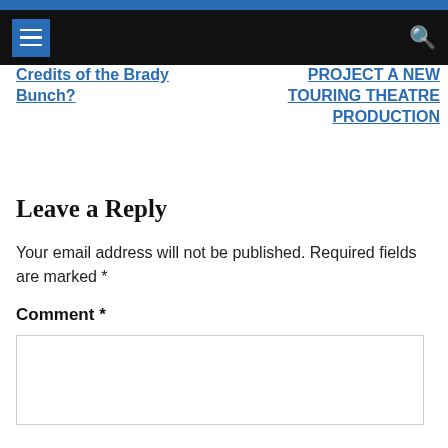Credits of the Brady Bunch?
PROJECT A NEW TOURING THEATRE PRODUCTION
Leave a Reply
Your email address will not be published. Required fields are marked *
Comment *